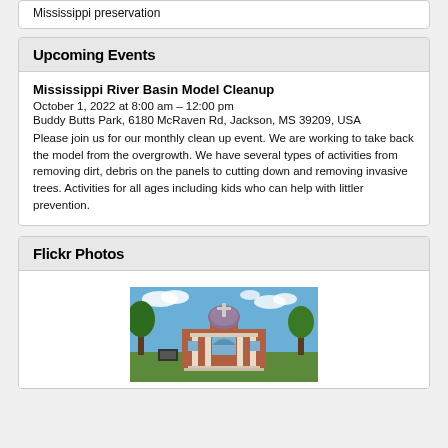Mississippi preservation
Upcoming Events
Mississippi River Basin Model Cleanup
October 1, 2022 at 8:00 am – 12:00 pm
Buddy Butts Park, 6180 McRaven Rd, Jackson, MS 39209, USA
Please join us for our monthly clean up event. We are working to take back the model from the overgrowth. We have several types of activities from removing dirt, debris on the panels to cutting down and removing invasive trees. Activities for all ages including kids who can help with littler prevention.
Flickr Photos
[Figure (photo): Exterior photo of a red brick church building with white columns, a dome, and a cross on top, surrounded by trees under a blue sky with clouds.]